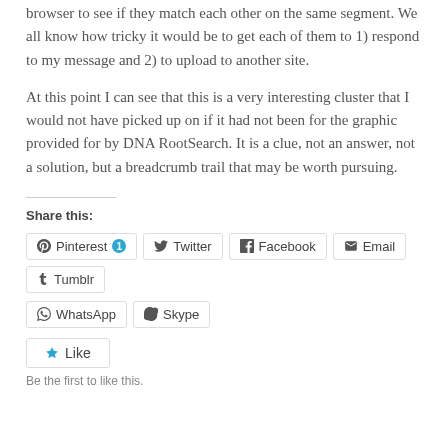browser to see if they match each other on the same segment. We all know how tricky it would be to get each of them to 1) respond to my message and 2) to upload to another site.
At this point I can see that this is a very interesting cluster that I would not have picked up on if it had not been for the graphic provided for by DNA RootSearch. It is a clue, not an answer, not a solution, but a breadcrumb trail that may be worth pursuing.
Share this:
Pinterest 1  Twitter  Facebook  Email  Tumblr  WhatsApp  Skype
Like
Be the first to like this.